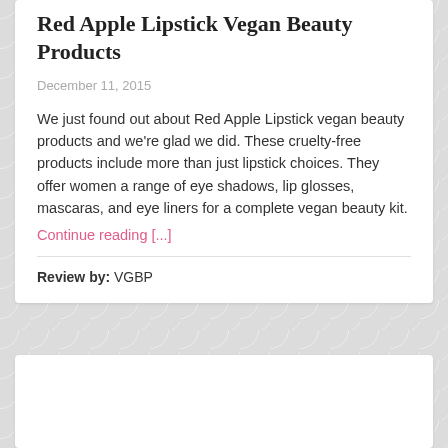Red Apple Lipstick Vegan Beauty Products
December 11, 2015
We just found out about Red Apple Lipstick vegan beauty products and we're glad we did. These cruelty-free products include more than just lipstick choices. They offer women a range of eye shadows, lip glosses, mascaras, and eye liners for a complete vegan beauty kit.
Continue reading [...]
Review by: VGBP
[Figure (photo): Bottom card area, partially visible, white background]